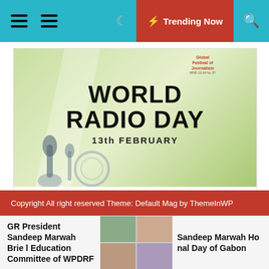Trending Now
[Figure (photo): World Radio Day promotional image showing text: WORLD RADIO DAY 13th FEBRUARY, with Global Festival of Journalism logo, microphones and radio equipment in foreground on green background]
2 years ago
IJC Will Celebrate 13th February With New Radio Station at Raipur
Copyright All right reserved Theme: Default Mag by ThemeInWP
GR President Sandeep Marwah Brie l Education Committee of WPDRF
Sandeep Marwah Ho nal Day of Gabon